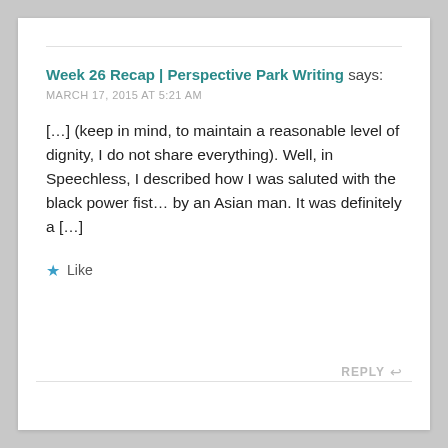Week 26 Recap | Perspective Park Writing says:
MARCH 17, 2015 AT 5:21 AM
[…] (keep in mind, to maintain a reasonable level of dignity, I do not share everything). Well, in Speechless, I described how I was saluted with the black power fist… by an Asian man. It was definitely a […]
★ Like
REPLY ↩